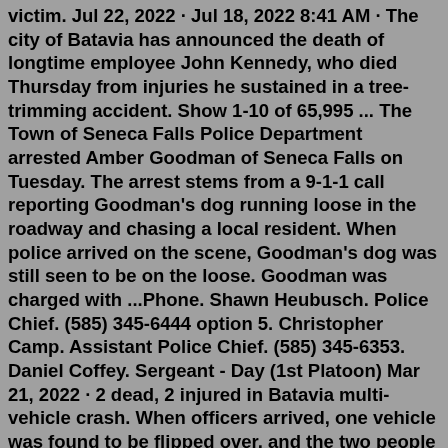victim. Jul 22, 2022 · Jul 18, 2022 8:41 AM · The city of Batavia has announced the death of longtime employee John Kennedy, who died Thursday from injuries he sustained in a tree-trimming accident. Show 1-10 of 65,995 ... The Town of Seneca Falls Police Department arrested Amber Goodman of Seneca Falls on Tuesday. The arrest stems from a 9-1-1 call reporting Goodman's dog running loose in the roadway and chasing a local resident. When police arrived on the scene, Goodman's dog was still seen to be on the loose. Goodman was charged with ...Phone. Shawn Heubusch. Police Chief. (585) 345-6444 option 5. Christopher Camp. Assistant Police Chief. (585) 345-6353. Daniel Coffey. Sergeant - Day (1st Platoon) Mar 21, 2022 · 2 dead, 2 injured in Batavia multi-vehicle crash. When officers arrived, one vehicle was found to be flipped over, and the two people inside were dead, police said. BATAVIA, Ill. - Batavia police ... Jul 12, 2022 · Oneida Police Department blotter. By The Dispatch Staff | newsroom@oneidadispatch.com |. PUBLISHED: July 12, 2022 at 10:00 a.m. |